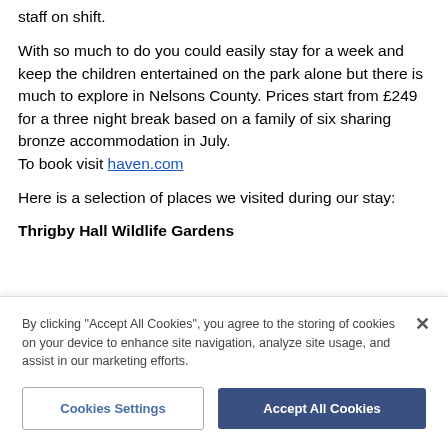staff on shift.
With so much to do you could easily stay for a week and keep the children entertained on the park alone but there is much to explore in Nelsons County. Prices start from £249 for a three night break based on a family of six sharing bronze accommodation in July.
To book visit haven.com
Here is a selection of places we visited during our stay:
Thrigby Hall Wildlife Gardens
By clicking "Accept All Cookies", you agree to the storing of cookies on your device to enhance site navigation, analyze site usage, and assist in our marketing efforts.